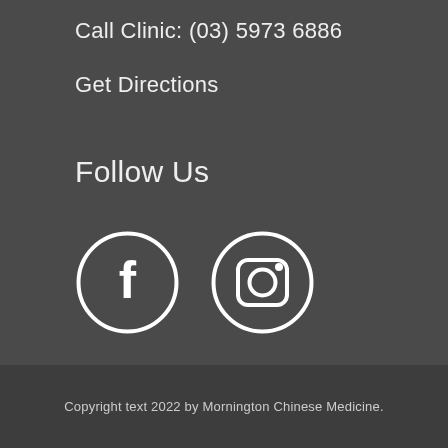Call Clinic: (03) 5973 6886
Get Directions
Follow Us
[Figure (other): Facebook and Instagram social media icons in white circles on dark background]
Copyright text 2022 by Mornington Chinese Medicine.